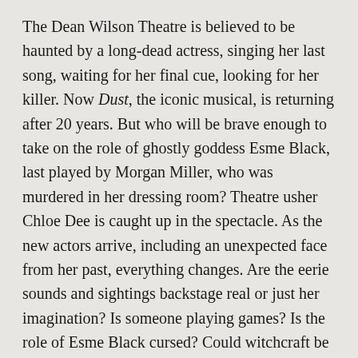The Dean Wilson Theatre is believed to be haunted by a long-dead actress, singing her last song, waiting for her final cue, looking for her killer. Now Dust, the iconic musical, is returning after 20 years. But who will be brave enough to take on the role of ghostly goddess Esme Black, last played by Morgan Miller, who was murdered in her dressing room? Theatre usher Chloe Dee is caught up in the spectacle. As the new actors arrive, including an unexpected face from her past, everything changes. Are the eerie sounds and sightings backstage real or just her imagination? Is someone playing games? Is the role of Esme Black cursed? Could witchcraft be at the heart of the tragedy? And are dark deeds from Chloe's past about to catch up with her? Not all the drama takes place onstage. Sometimes murder, magic, obsession and the biggest of betrayals are real